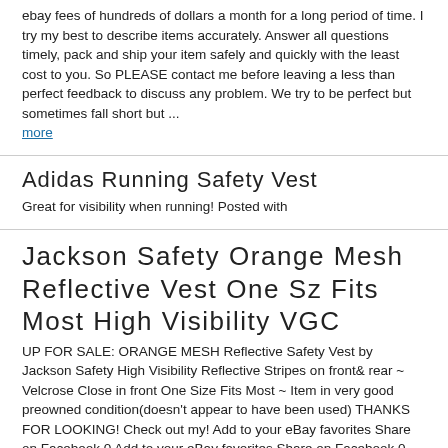ebay fees of hundreds of dollars a month for a long period of time. I try my best to describe items accurately. Answer all questions timely, pack and ship your item safely and quickly with the least cost to you. So PLEASE contact me before leaving a less than perfect feedback to discuss any problem. We try to be perfect but sometimes fall short but ...
more
Adidas Running Safety Vest
Great for visibility when running! Posted with
Jackson Safety Orange Mesh Reflective Vest One Sz Fits Most High Visibility VGC
UP FOR SALE: ORANGE MESH Reflective Safety Vest by Jackson Safety High Visibility Reflective Stripes on front& rear ~ Velcrose Close in front One Size Fits Most ~ Item in very good preowned condition(doesn't appear to have been used) THANKS FOR LOOKING! Check out my! Add to your eBay favorites Share on Facebook 0 Add to your eBay favorites Share on Facebook 0 Add to your eBay favorites Share on Facebook 0 |
CORDOVA SAFETY VEST MESH ORANGE GRAY REFLECTOR TAPE SIZE L
THIS IS A NEAR NEW VEST IT IS ORANGE MESH AND HAS GRAY REFLECTOR TAPE ZIPPER FRONT